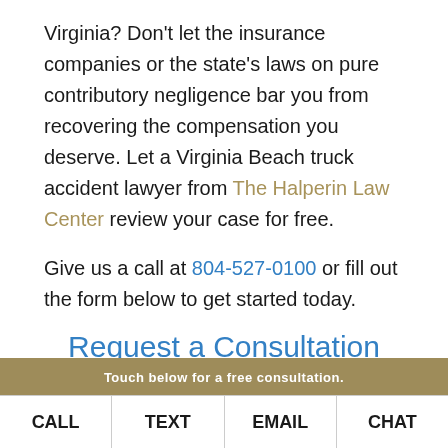Virginia? Don't let the insurance companies or the state's laws on pure contributory negligence bar you from recovering the compensation you deserve. Let a Virginia Beach truck accident lawyer from The Halperin Law Center review your case for free.
Give us a call at 804-527-0100 or fill out the form below to get started today.
Request a Consultation
Touch below for a free consultation.
CALL | TEXT | EMAIL | CHAT